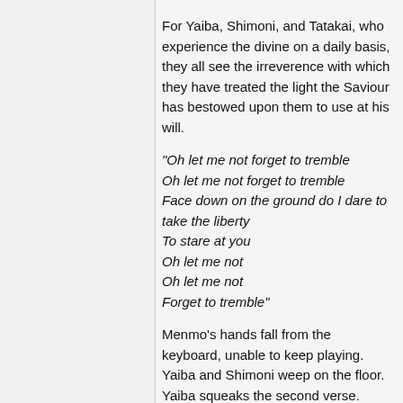For Yaiba, Shimoni, and Tatakai, who experience the divine on a daily basis, they all see the irreverence with which they have treated the light the Saviour has bestowed upon them to use at his will.
"Oh let me not forget to tremble
Oh let me not forget to tremble
Face down on the ground do I dare to take the liberty
To stare at you
Oh let me not
Oh let me not
Forget to tremble"
Menmo's hands fall from the keyboard, unable to keep playing. Yaiba and Shimoni weep on the floor. Yaiba squeaks the second verse.
"What a shame, to think that I'd appear
Even slightly cavalier
In the matter of salvation